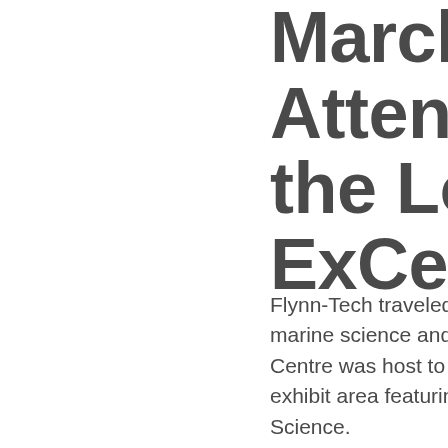March 13-15, 2016 Attends Oceanology the London ExCeL
Flynn-Tech traveled to London for what is a marine science and technology conference. The Centre was host to an estimated 14,000 and exhibit area featuring over 520 companies in Science. Many of the Flynn-Tech Product lines were Sea Power & Light, Greensea Systems, Se Offshore shared space with local representatives and general enthusiasm for the momentum